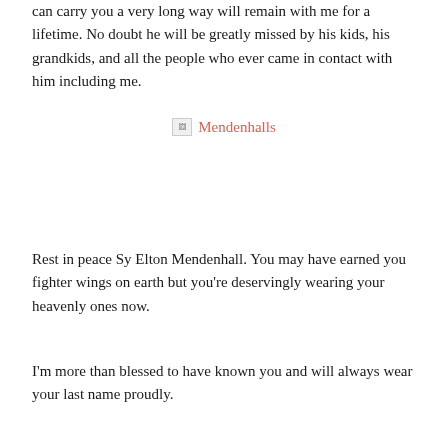can carry you a very long way will remain with me for a lifetime. No doubt he will be greatly missed by his kids, his grandkids, and all the people who ever came in contact with him including me.
[Figure (illustration): Broken image placeholder with the label 'Mendenhalls' in coral/salmon colored text]
Rest in peace Sy Elton Mendenhall. You may have earned you fighter wings on earth but you’re deservingly wearing your heavenly ones now.
I’m more than blessed to have known you and will always wear your last name proudly.